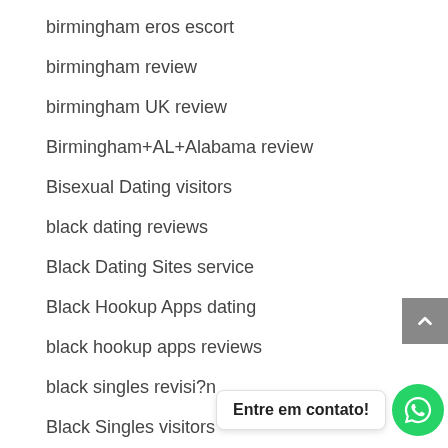birmingham eros escort
birmingham review
birmingham UK review
Birmingham+AL+Alabama review
Bisexual Dating visitors
black dating reviews
Black Dating Sites service
Black Hookup Apps dating
black hookup apps reviews
black singles revisi?n
Black Singles visitors
black-dating-cs Seznamka
black-dating-nl beoordelingen
Entre em contato!